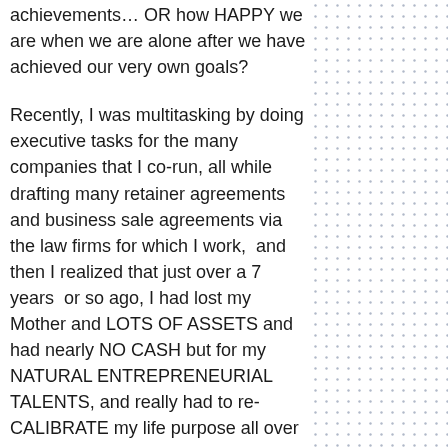achievements… OR how HAPPY we are when we are alone after we have achieved our very own goals?

Recently, I was multitasking by doing executive tasks for the many companies that I co-run, all while drafting many retainer agreements and business sale agreements via the law firms for which I work,  and then I realized that just over a 7 years  or so ago, I had lost my Mother and LOTS OF ASSETS and had nearly NO CASH but for my NATURAL ENTREPRENEURIAL TALENTS, and really had to re-CALIBRATE my life purpose all over again… I did some deal soul searching, listened to some amazing and candid friends, who believe in me